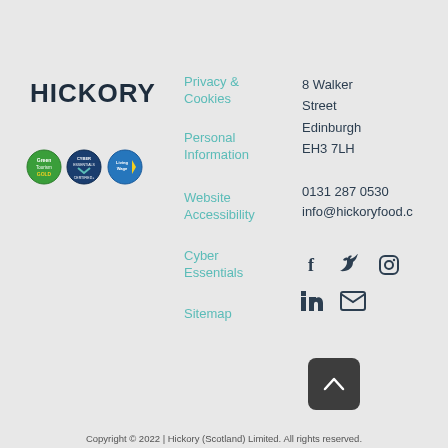[Figure (logo): HICKORY company logo in dark navy bold text]
[Figure (other): Three certification badges: Green Tourism Gold, Cyber Essentials Certified Plus, Living Wage]
Privacy & Cookies
Personal Information
Website Accessibility
Cyber Essentials
Sitemap
8 Walker Street Edinburgh EH3 7LH
0131 287 0530
info@hickoryfood.c...
[Figure (other): Social media icons: Facebook, Twitter, Instagram, LinkedIn, Email]
[Figure (other): Back to top arrow button]
Copyright © 2022 | Hickory (Scotland) Limited. All rights reserved.